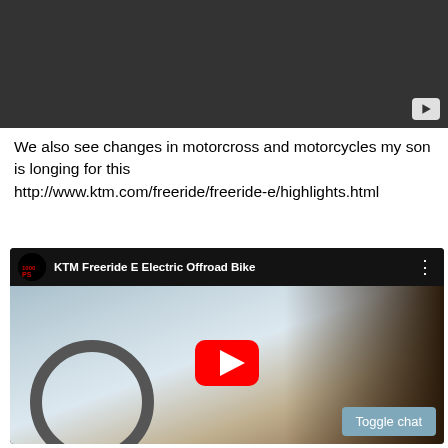[Figure (screenshot): Dark video player placeholder with a small play button in bottom-right corner]
We also see changes in motorcross and motorcycles my son is longing for this http://www.ktm.com/freeride/freeride-e/highlights.html
[Figure (screenshot): YouTube embedded video thumbnail showing KTM Freeride E Electric Offroad Bike with a rider, the 1000ps channel logo, and a red YouTube play button overlay. A 'Toggle chat' button appears in the bottom-right corner.]